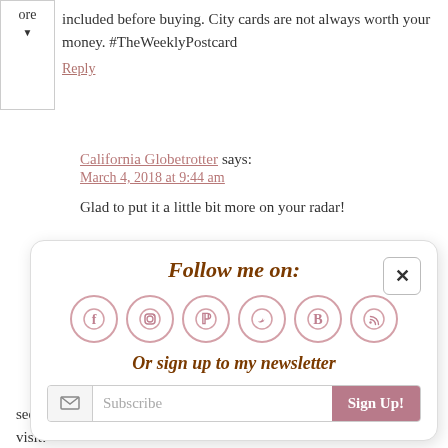included before buying. City cards are not always worth your money. #TheWeeklyPostcard
Reply
California Globetrotter says: March 4, 2018 at 9:44 am
Glad to put it a little bit more on your radar!
[Figure (infographic): Follow me on: popup widget with social media icons (Facebook, Instagram, Pinterest, Twitter, Bloglovin, RSS), newsletter signup with Subscribe input and Sign Up! button, and a close (x) button.]
see a lot of things on your list. I'll definitely be saving for a future visit!